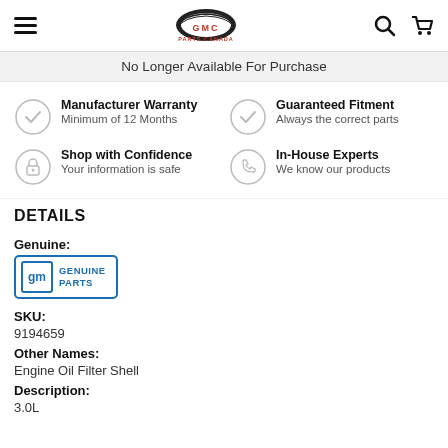GMC Parts Canada — navigation header with hamburger menu, logo, search and cart icons
No Longer Available For Purchase
Manufacturer Warranty
Minimum of 12 Months
Guaranteed Fitment
Always the correct parts
Shop with Confidence
Your information is safe
In-House Experts
We know our products
DETAILS
Genuine:
[Figure (logo): GM Genuine Parts logo — blue square with 'gm' text beside 'GENUINE PARTS' in blue]
SKU:
9194659
Other Names:
Engine Oil Filter Shell
Description:
3.0L